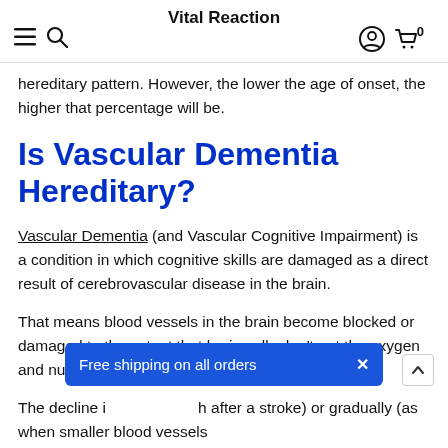Vital Reaction
hereditary pattern. However, the lower the age of onset, the higher that percentage will be.
Is Vascular Dementia Hereditary?
Vascular Dementia (and Vascular Cognitive Impairment) is a condition in which cognitive skills are damaged as a direct result of cerebrovascular disease in the brain.
That means blood vessels in the brain become blocked or damaged to the extent that brain cells don't get the oxygen and nutrients they need.
The decline in … (such after a stroke) or gradually (as when smaller blood vessels …